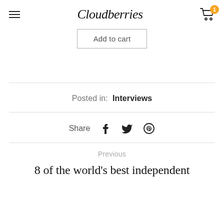Cloudberries
Add to cart
Posted in: Interviews
Share
Previous
8 of the world's best independent